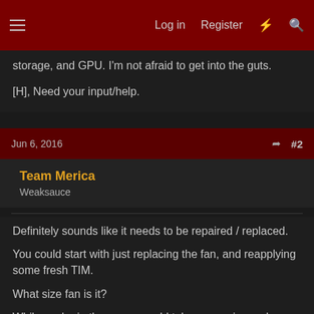Log in   Register   #   Search
storage, and GPU. I'm not afraid to get into the guts.

[H], Need your input/help.
Jun 6, 2016   #2
Team Merica
Weaksauce
Definitely sounds like it needs to be repaired / replaced.

You could start with just replacing the fan, and reapplying some fresh TIM.

What size fan is it?

While you're in there, you could take some pics and measure the mounting holes and backplate, so you know what you'd need to be searching for in a replacement scenario. Could